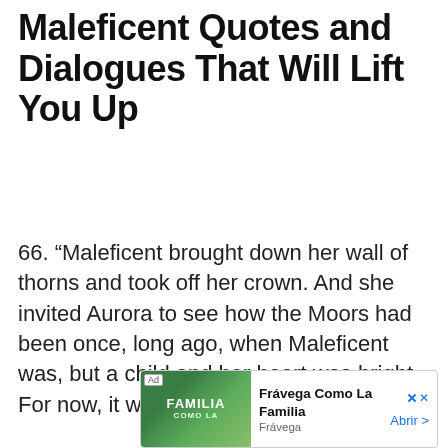Maleficent Quotes and Dialogues That Will Lift You Up
66. “Maleficent brought down her wall of thorns and took off her crown. And she invited Aurora to see how the Moors had been once, long ago, when Maleficent was, but a child and her heart was bright. For now, it was again.” – Narrator
[Figure (screenshot): Advertisement banner for Frávega Como La Familia with a green outdoor group photo, Ad badge, title 'Frávega Como La Familia', subtitle 'Frávega', and 'Abrir >' button]